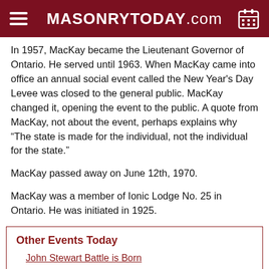MASONRYTODAY.com
In 1957, MacKay became the Lieutenant Governor of Ontario. He served until 1963. When MacKay came into office an annual social event called the New Year's Day Levee was closed to the general public. MacKay changed it, opening the event to the public. A quote from MacKay, not about the event, perhaps explains why “The state is made for the individual, not the individual for the state.”
MacKay passed away on June 12th, 1970.
MacKay was a member of Ionic Lodge No. 25 in Ontario. He was initiated in 1925.
Other Events Today
John Stewart Battle is Born
Albert Casimir, Duke of Teschen is Born
Frank Earl Hering Passes Away